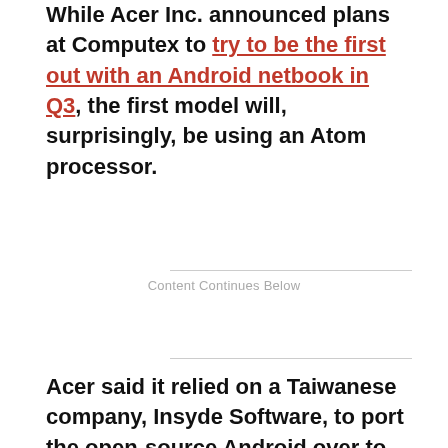While Acer Inc. announced plans at Computex to try to be the first out with an Android netbook in Q3, the first model will, surprisingly, be using an Atom processor.
Content Continues Below
Acer said it relied on a Taiwanese company, Insyde Software, to port the open-source Android over to Atom.
Could more netbook makers follow Acer and defect from ARM to Intel? "I absolutely don't think so," said McGuire. She said this does “not raise any concerns on the ARM side."